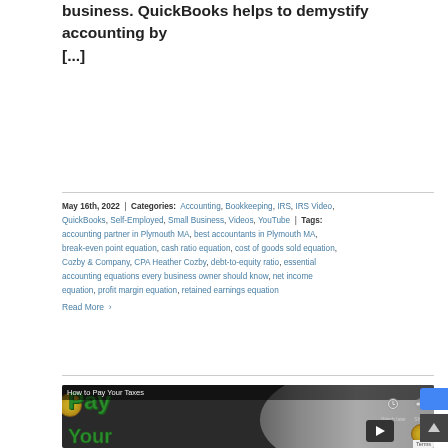business. QuickBooks helps to demystify accounting by [...]
May 16th, 2022 | Categories: Accounting, Bookkeeping, IRS, IRS Video, QuickBooks, Self-Employed, Small Business, Videos, YouTube | Tags: accounting partner in Plymouth MA, best accountants in Plymouth MA, break-even point equation, cash ratio equation, cost of goods sold equation, Cozby & Company, CPA Heather Cozby, debt-to-equity ratio, essential accounting equations every business owner should know, net income equation, profit margin equation, retained earnings equation Read More >
[Figure (screenshot): YouTube video thumbnail for 'How to Pay Your Taxes' showing green text 'Pay Your' with a person and coins, with Watch Later and Share icons visible]